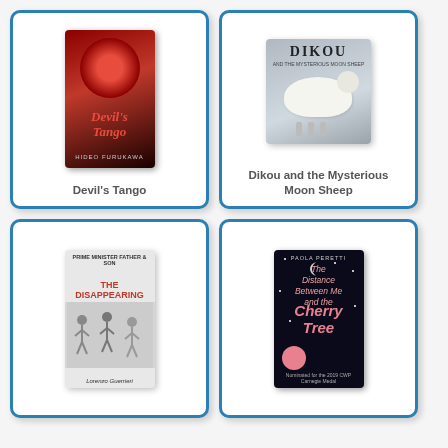[Figure (illustration): Book cover for Devil's Tango - dark red and black cover with a figure and circular motif]
Devil's Tango
[Figure (illustration): Book cover for Dikou and the Mysterious Moon Sheep - grey cover with illustrated sheep]
Dikou and the Mysterious Moon Sheep
[Figure (illustration): Book cover for The Disappearing Children - light grey cover with illustrated characters]
[Figure (illustration): Book cover for The Distance Between Me and the Cherry Tree - dark night sky cover with pink text]